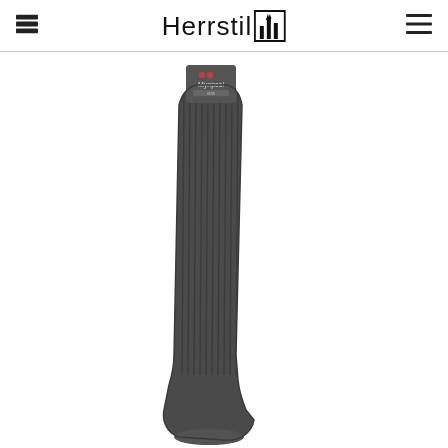Herrstil
[Figure (photo): A tall dark charcoal grey ribbed knee-high sock with a branded label tag at the top, shown on a white background. The sock is a Myn/Mynpesi brand, displayed folded/extended vertically.]